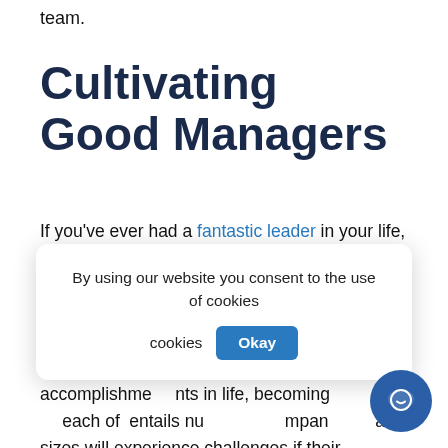team.
Cultivating Good Managers
If you've ever had a fantastic leader in your life, you know that these people are truly exceptional and don't come around all too often. But that's not to say that an impressive employee can't become a great manager with the right coaching and training. Like most accomplishments in life, becoming a great manager… each of which entails numerous… companies of all sizes will experience challenges if their